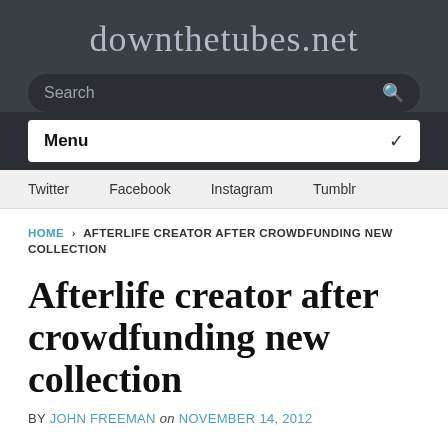downthetubes.net
Search
Menu
Twitter  Facebook  Instagram  Tumblr
HOME › AFTERLIFE CREATOR AFTER CROWDFUNDING NEW COLLECTION
Afterlife creator after crowdfunding new collection
BY JOHN FREEMAN on NOVEMBER 14, 2012